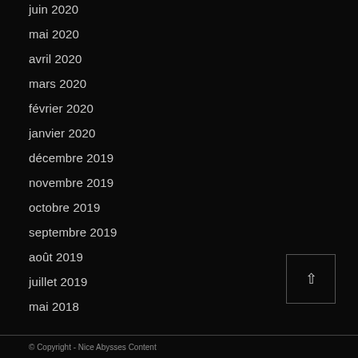juin 2020
mai 2020
avril 2020
mars 2020
février 2020
janvier 2020
décembre 2019
novembre 2019
octobre 2019
septembre 2019
août 2019
juillet 2019
mai 2018
© Copyright - Nice Abysses Content